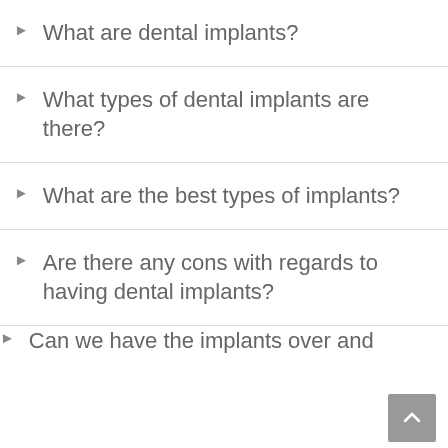What are dental implants?
What types of dental implants are there?
What are the best types of implants?
Are there any cons with regards to having dental implants?
Can we have the implants over and